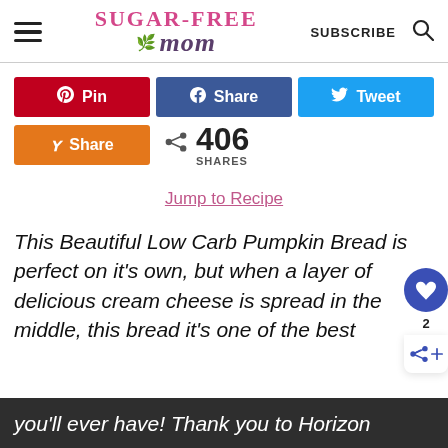Sugar-Free Mom — SUBSCRIBE
[Figure (infographic): Social share buttons: Pin (red), Share (blue/Facebook), Tweet (light blue/Twitter), Share (orange/Yummly), and share count showing 406 SHARES]
Jump to Recipe
This Beautiful Low Carb Pumpkin Bread is perfect on it's own, but when a layer of delicious cream cheese is spread in the middle, this bread it's one of the best you'll ever have! Thank you to Horizon